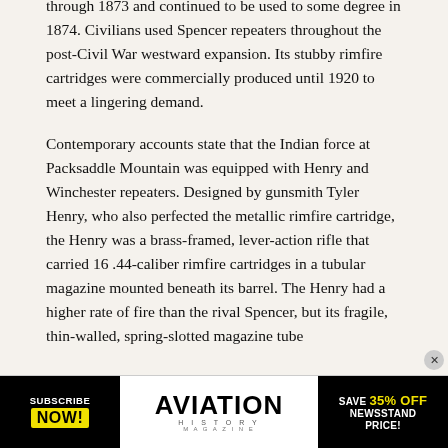through 1873 and continued to be used to some degree in 1874. Civilians used Spencer repeaters throughout the post-Civil War westward expansion. Its stubby rimfire cartridges were commercially produced until 1920 to meet a lingering demand.
Contemporary accounts state that the Indian force at Packsaddle Mountain was equipped with Henry and Winchester repeaters. Designed by gunsmith Tyler Henry, who also perfected the metallic rimfire cartridge, the Henry was a brass-framed, lever-action rifle that carried 16 .44-caliber rimfire cartridges in a tubular magazine mounted beneath its barrel. The Henry had a higher rate of fire than the rival Spencer, but its fragile, thin-walled, spring-slotted magazine tube
[Figure (other): Advertisement banner for Aviation History Magazine: 'Subscribe Now! Save 35% Off Newsstand Price!']